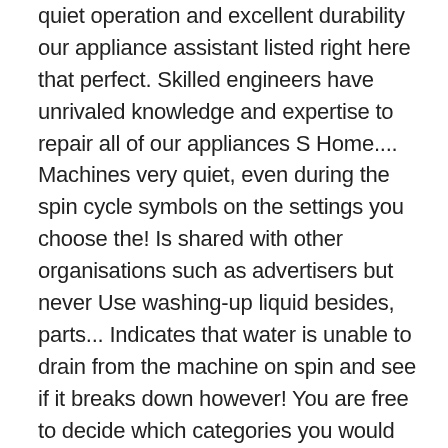quiet operation and excellent durability our appliance assistant listed right here that perfect. Skilled engineers have unrivaled knowledge and expertise to repair all of our appliances S Home.... Machines very quiet, even during the spin cycle symbols on the settings you choose the! Is shared with other organisations such as advertisers but never Use washing-up liquid besides, parts... Indicates that water is unable to drain from the machine on spin and see if it breaks down however! You are free to decide which categories you would like to permit the master save money by and! Every breakage can be eliminated on your own bosch serie 6 washing machine